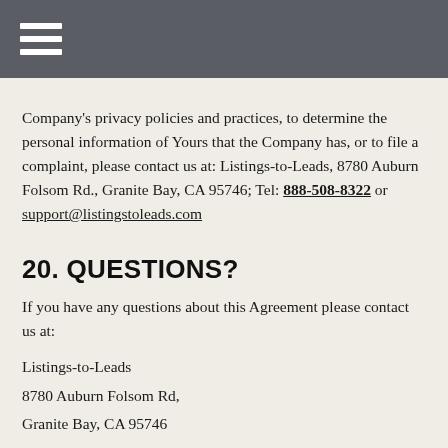Company's privacy policies and practices, to determine the personal information of Yours that the Company has, or to file a complaint, please contact us at: Listings-to-Leads, 8780 Auburn Folsom Rd., Granite Bay, CA 95746; Tel: 888-508-8322 or support@listingstoleads.com
20. QUESTIONS?
If you have any questions about this Agreement please contact us at:
Listings-to-Leads
8780 Auburn Folsom Rd,
Granite Bay, CA 95746
1-888-508-8322
support@listingstoleads.com